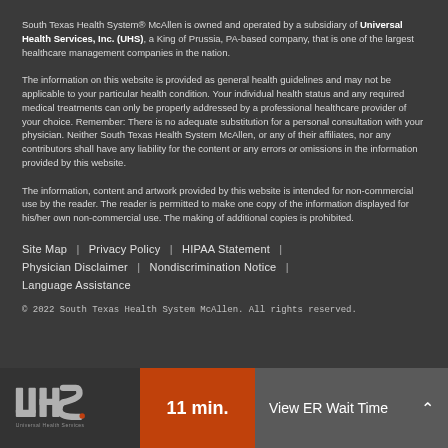South Texas Health System® McAllen is owned and operated by a subsidiary of Universal Health Services, Inc. (UHS), a King of Prussia, PA-based company, that is one of the largest healthcare management companies in the nation.
The information on this website is provided as general health guidelines and may not be applicable to your particular health condition. Your individual health status and any required medical treatments can only be properly addressed by a professional healthcare provider of your choice. Remember: There is no adequate substitution for a personal consultation with your physician. Neither South Texas Health System McAllen, or any of their affiliates, nor any contributors shall have any liability for the content or any errors or omissions in the information provided by this website.
The information, content and artwork provided by this website is intended for non-commercial use by the reader. The reader is permitted to make one copy of the information displayed for his/her own non-commercial use. The making of additional copies is prohibited.
Site Map   |   Privacy Policy   |   HIPAA Statement   |
Physician Disclaimer   |   Nondiscrimination Notice   |
Language Assistance
© 2022 South Texas Health System McAllen. All rights reserved.
[Figure (logo): UHS logo in white on dark background]
11 min.
View ER Wait Time